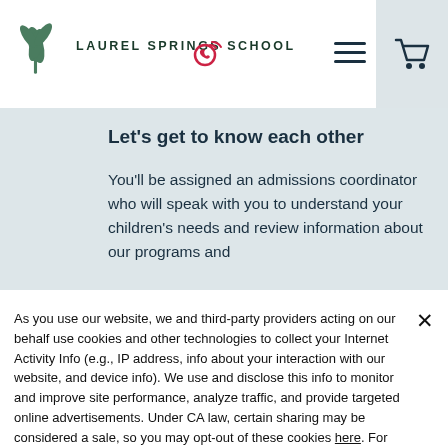LAUREL SPRINGS SCHOOL
Let's get to know each other
You'll be assigned an admissions coordinator who will speak with you to understand your children's needs and review information about our programs and
As you use our website, we and third-party providers acting on our behalf use cookies and other technologies to collect your Internet Activity Info (e.g., IP address, info about your interaction with our website, and device info). We use and disclose this info to monitor and improve site performance, analyze traffic, and provide targeted online advertisements. Under CA law, certain sharing may be considered a sale, so you may opt-out of these cookies here. For more information, please review the Privacy and Cookie Notice and Privacy Notice for California Residents.